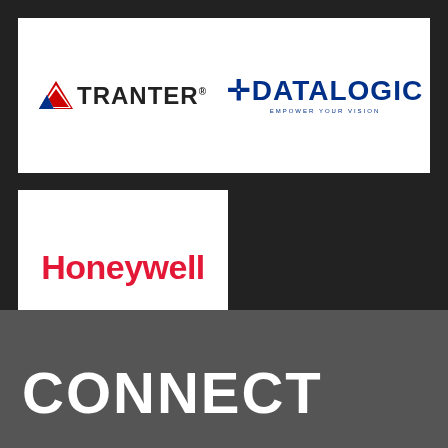[Figure (logo): Tranter logo: red triangle icon followed by 'TRANTER' text in dark gray/black with registered trademark symbol]
[Figure (logo): Datalogic logo: blue cross/plus symbol followed by 'DATALOGIC' in bold dark blue uppercase text, with 'EMPOWER YOUR VISION' tagline below]
[Figure (logo): Honeywell logo: 'Honeywell' in bold red text on white background]
CONNECT